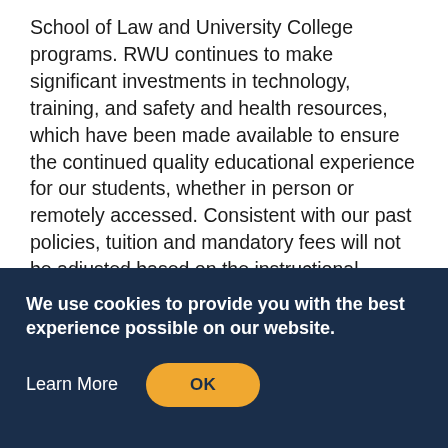School of Law and University College programs. RWU continues to make significant investments in technology, training, and safety and health resources, which have been made available to ensure the continued quality educational experience for our students, whether in person or remotely accessed. Consistent with our past policies, tuition and mandatory fees will not be adjusted based on the instructional method and/or mode of academic delivery or any other changes or disruptions that may occur during the academic year such as adjustments to instructional content, schedules or the duration of the
We use cookies to provide you with the best experience possible on our website.
Learn More
OK